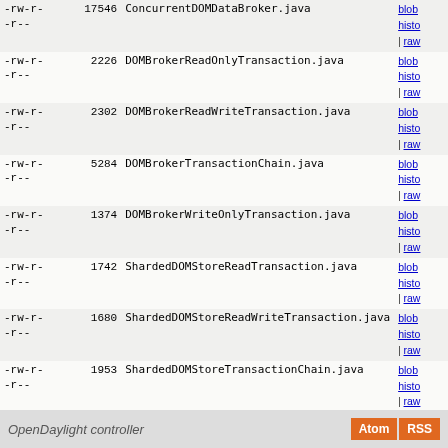| permissions | size | filename | links |
| --- | --- | --- | --- |
| -rw-r--r-- | 17546 | ConcurrentDOMDataBroker.java | blob | histo | raw |
| -rw-r--r-- | 2226 | DOMBrokerReadOnlyTransaction.java | blob | histo | raw |
| -rw-r--r-- | 2302 | DOMBrokerReadWriteTransaction.java | blob | histo | raw |
| -rw-r--r-- | 5284 | DOMBrokerTransactionChain.java | blob | histo | raw |
| -rw-r--r-- | 1374 | DOMBrokerWriteOnlyTransaction.java | blob | histo | raw |
| -rw-r--r-- | 1742 | ShardedDOMStoreReadTransaction.java | blob | histo | raw |
| -rw-r--r-- | 1680 | ShardedDOMStoreReadWriteTransaction.java | blob | histo | raw |
| -rw-r--r-- | 1953 | ShardedDOMStoreTransactionChain.java | blob | histo | raw |
| -rw-r--r-- | 1727 | ShardedDOMStoreWriteTransaction.java | blob | histo | raw |
| drwxr-xr-x | - | actors | tree | histo |
OpenDaylight controller  Atom  RSS